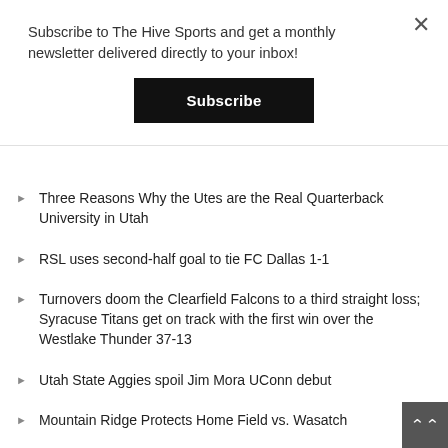Subscribe to The Hive Sports and get a monthly newsletter delivered directly to your inbox!
Subscribe
Three Reasons Why the Utes are the Real Quarterback University in Utah
RSL uses second-half goal to tie FC Dallas 1-1
Turnovers doom the Clearfield Falcons to a third straight loss; Syracuse Titans get on track with the first win over the Westlake Thunder 37-13
Utah State Aggies spoil Jim Mora UConn debut
Mountain Ridge Protects Home Field vs. Wasatch
Interview with Stansbury's LB/WR Trent Jones
Region 1 Football: The best QB Region in the state